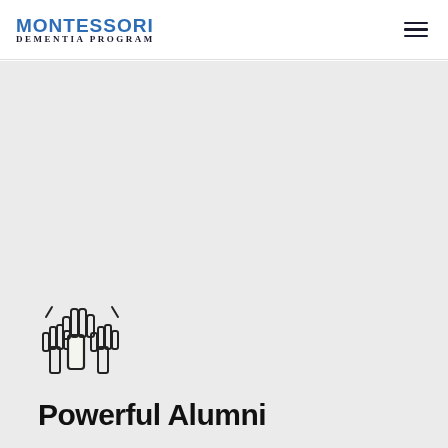MONTESSORI DEMENTIA PROGRAM
[Figure (logo): Montessori Dementia Program logo with blue MONTESSORI text and dark small caps DEMENTIA PROGRAM below]
[Figure (illustration): Icon of three hands raised/together in a teamwork or solidarity gesture, outline style]
Powerful Alumni